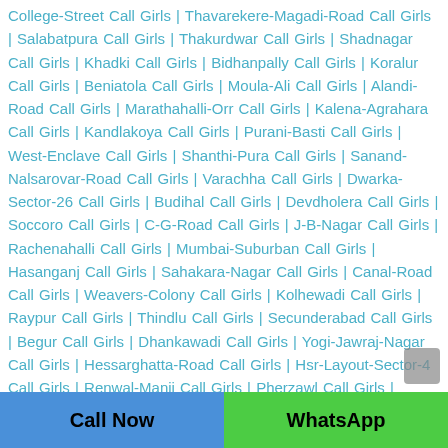College-Street Call Girls | Thavarekere-Magadi-Road Call Girls | Salabatpura Call Girls | Thakurdwar Call Girls | Shadnagar Call Girls | Khadki Call Girls | Bidhanpally Call Girls | Koralur Call Girls | Beniatola Call Girls | Moula-Ali Call Girls | Alandi-Road Call Girls | Marathahalli-Orr Call Girls | Kalena-Agrahara Call Girls | Kandlakoya Call Girls | Purani-Basti Call Girls | West-Enclave Call Girls | Shanthi-Pura Call Girls | Sanand-Nalsarovar-Road Call Girls | Varachha Call Girls | Dwarka-Sector-26 Call Girls | Budihal Call Girls | Devdholera Call Girls | Soccoro Call Girls | C-G-Road Call Girls | J-B-Nagar Call Girls | Rachenahalli Call Girls | Mumbai-Suburban Call Girls | Hasanganj Call Girls | Sahakara-Nagar Call Girls | Canal-Road Call Girls | Weavers-Colony Call Girls | Kolhewadi Call Girls | Raypur Call Girls | Thindlu Call Girls | Secunderabad Call Girls | Begur Call Girls | Dhankawadi Call Girls | Yogi-Jawraj-Nagar Call Girls | Hessarghatta-Road Call Girls | Hsr-Layout-Sector-4 Call Girls | Renwal-Manji Call Girls | Pherzawl Call Girls | Vindhane Call Girls | West-End-Colony Call Girls | Regent-Park Call Girls | Sector-B Call Girls | Tardeo Call Girls | Badannai Call Girls |
Call Now | WhatsApp